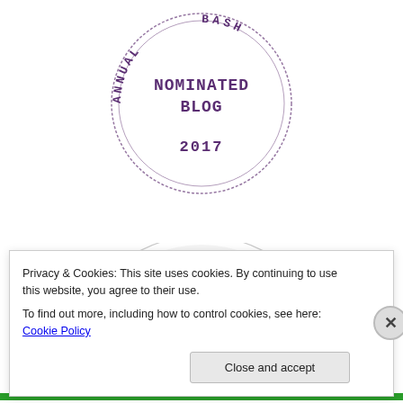[Figure (illustration): A circular rubber stamp badge in purple ink reading 'NOMINATED BLOG' in the center and 'ANNUAL BASH 2017' around the perimeter with dashed border circle.]
[Figure (illustration): A circular badge/logo (partially visible, top arc only) in light gray with text 'I'M A BOOK CONNECTOR' in large dark letters.]
Privacy & Cookies: This site uses cookies. By continuing to use this website, you agree to their use.
To find out more, including how to control cookies, see here: Cookie Policy
Close and accept